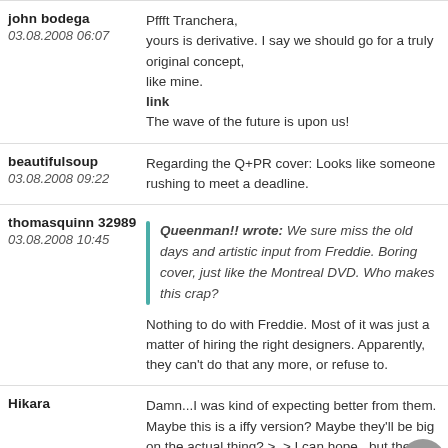john bodega
03.08.2008 06:07
Pffft Tranchera,
yours is derivative. I say we should go for a truly original concept,
like mine.
link
The wave of the future is upon us!
beautifulsoup
03.08.2008 09:22
Regarding the Q+PR cover: Looks like someone rushing to meet a deadline.
thomasquinn 32989
03.08.2008 10:45
Queenman!! wrote: We sure miss the old days and artistic input from Freddie. Boring cover, just like the Montreal DVD. Who makes this crap?
Nothing to do with Freddie. Most of it was just a matter of hiring the right designers. Apparently, they can't do that any more, or refuse to.
Hikara
Damn...I was kind of expecting better from them. Maybe this is a iffy version? Maybe they'll be bigger on the actual thing? >_> I can hope...but the mu...